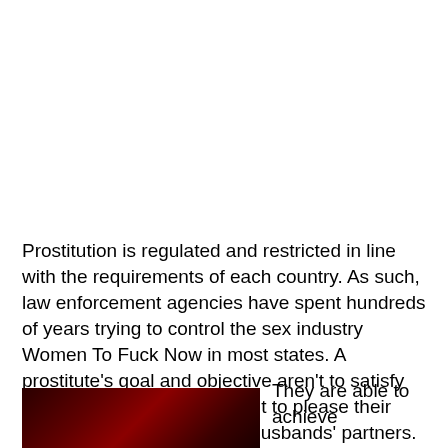Prostitution is regulated and restricted in line with the requirements of each country. As such, law enforcement agencies have spent hundreds of years trying to control the sex industry Women To Fuck Now in most states. A prostitute's goal and objective aren't to satisfy their clients' sexual urges but to please their husbands, boyfriends, and husbands' partners.
They are able to achieve
[Figure (photo): Partial image visible at bottom left, dark red/black tones, appears to be a cropped photograph]